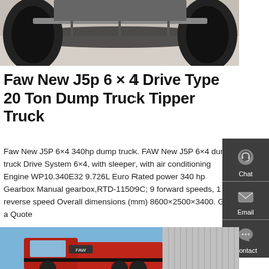[Figure (photo): Underside view of a truck chassis showing axles, wheels, and drivetrain components on a concrete surface]
Faw New J5p 6 × 4 Drive Type 20 Ton Dump Truck Tipper Truck
Faw New J5P 6×4 340hp dump truck. FAW New J5P 6×4 dump truck Drive System 6×4, with sleeper, with air conditioning Engine WP10.340E32 9.726L Euro Rated power 340 hp Gearbox Manual gearbox,RTD-11509C; 9 forward speeds, 1 reverse speed Overall dimensions (mm) 8600×2500×3400. Get a Quote
[Figure (screenshot): Sidebar contact widget with Chat, Email, and Contact buttons on dark grey background]
[Figure (photo): Red dump truck / tipper truck photographed against a blue sky and grey building background]